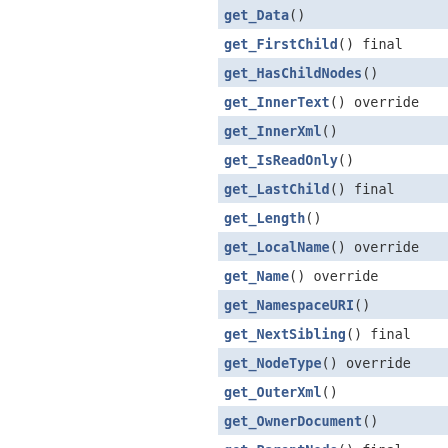| get_Data() |
| get_FirstChild() final |
| get_HasChildNodes() |
| get_InnerText() override |
| get_InnerXml() |
| get_IsReadOnly() |
| get_LastChild() final |
| get_Length() |
| get_LocalName() override |
| get_Name() override |
| get_NamespaceURI() |
| get_NextSibling() final |
| get_NodeType() override |
| get_OuterXml() |
| get_OwnerDocument() |
| get_ParentNode() final |
| get_Prefix() |
| get_PreviousSibling() final |
| get_PreviousText() override |